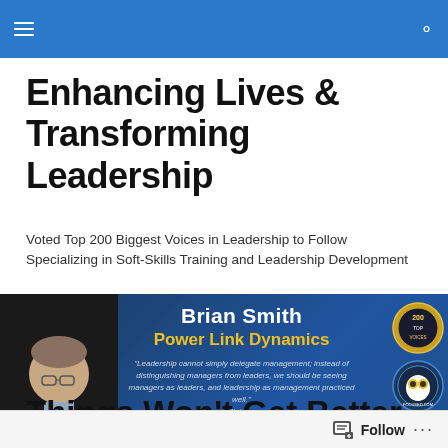Enhancing Lives & Transforming Leadership
Voted Top 200 Biggest Voices in Leadership to Follow Specializing in Soft-Skills Training and Leadership Development
[Figure (photo): Banner image featuring Brian Smith of Power Link Dynamics with a quote from Mintzberg: 'Leadership cannot simply delegate management; instead of distinguishing managers from leaders, we should be seeing managers as leaders, and leadership as management practiced well.' Shows a man in a suit on a dark blue background with two circular badges/seals on the right.]
Things Won't Get Better Until
Follow